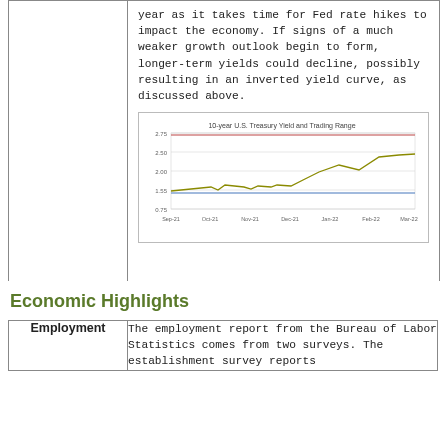year as it takes time for Fed rate hikes to impact the economy. If signs of a much weaker growth outlook begin to form, longer-term yields could decline, possibly resulting in an inverted yield curve, as discussed above.
[Figure (line-chart): Line chart showing 10-year U.S. Treasury Yield and trading range from Sep-21 to Mar-22. The yield line starts around 1.35, stays relatively flat through late 2021, then rises steeply from Jan-22 to Mar-22 reaching near 2.50. Two horizontal reference lines at approximately 2.75 (upper) and 1.35 (lower) indicate the trading range.]
Economic Highlights
|  |  |
| --- | --- |
| Employment | The employment report from the Bureau of Labor Statistics comes from two surveys. The establishment survey reports |